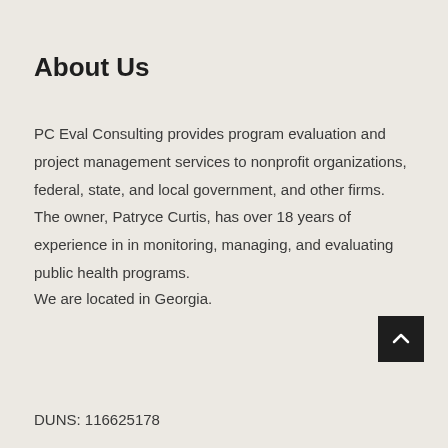About Us
PC Eval Consulting provides program evaluation and project management services to nonprofit organizations, federal, state, and local government, and other firms. The owner, Patryce Curtis, has over 18 years of experience in in monitoring, managing, and evaluating public health programs.
We are located in Georgia.
DUNS: 116625178